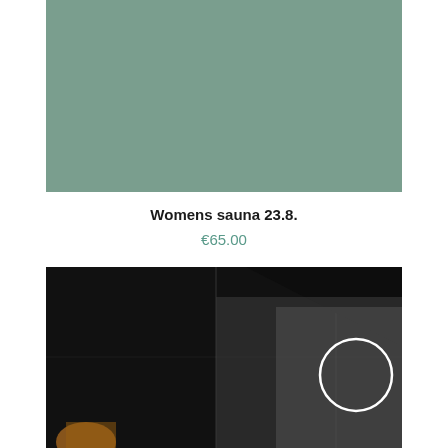[Figure (photo): Muted sage green/teal colored rectangle, appears to be a product or background image]
Womens sauna 23.8.
€65.00
[Figure (photo): Dark atmospheric photo showing tiled or paneled wall/floor in dark tones with a white circle outline visible in the upper right area, and a partial figure visible at lower left]